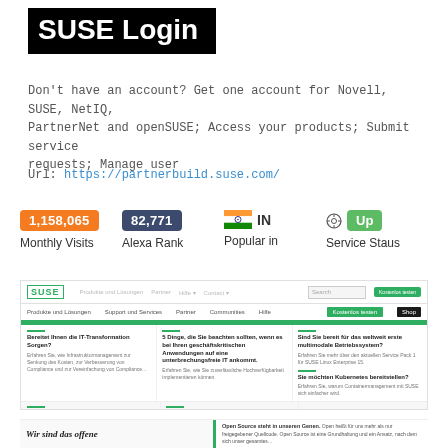[Figure (screenshot): SUSE Login banner with black background and white bold text]
Don't have an account? Get one account for Novell, SUSE, NetIQ, PartnerNet and openSUSE; Access your products; Submit service requests; Manage user
Url: https://partnerbuild.suse.com/
1,158,065 Monthly Visits | 82,771 Alexa Rank | IN Popular in | Up Service Staus
[Figure (screenshot): Screenshot of the SUSE partner website showing navigation, articles in German about IT transformation, Kubernetes, public cloud, and infrastructure development]